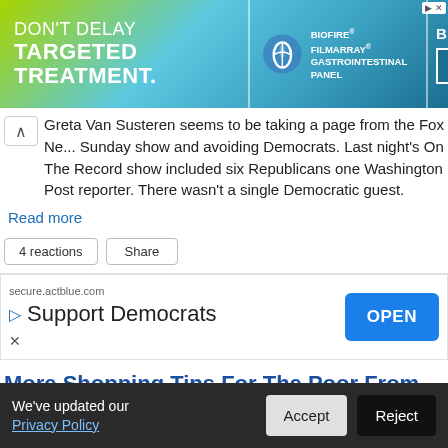[Figure (other): Advertisement banner for BioFire FilmArray Gastrointestinal Panel by bioMérieux. Text: DON'T DELAY TARGETED TREATMENT. BIOFIRE FILMARRAY GASTROINTESTINAL PANEL. BIOMERIEUX LEARN MORE.]
Greta Van Susteren seems to be taking a page from the Fox News Sunday show and avoiding Democrats. Last night's On The Record show included six Republicans one Washington Post reporter. There wasn't a single Democratic guest.
Read more
4 reactions   Share
[Figure (other): Advertisement for Support Democrats from secure.actblue.com with an OPEN button.]
More Shopping Tips For The Poor From Multimillionaire Hannity
We've updated our Privacy Policy   Accept   Reject